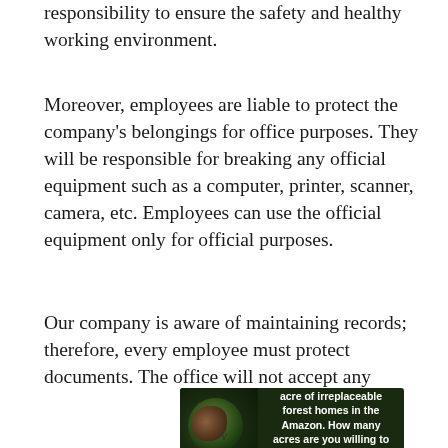responsibility to ensure the safety and healthy working environment.
Moreover, employees are liable to protect the company's belongings for office purposes. They will be responsible for breaking any official equipment such as a computer, printer, scanner, camera, etc. Employees can use the official equipment only for official purposes.
Our company is aware of maintaining records; therefore, every employee must protect documents. The office will not accept any
[Figure (infographic): Advertisement banner: dark green forest background with an orangutan image on the left. Text reads: 'Just $2 can protect 1 acre of irreplaceable forest homes in the Amazon. How many acres are you willing to protect?' with a green 'PROTECT FORESTS NOW' button.]
v